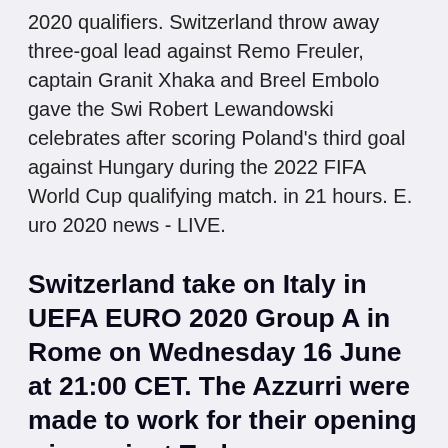2020 qualifiers. Switzerland throw away three-goal lead against Remo Freuler, captain Granit Xhaka and Breel Embolo gave the Swi Robert Lewandowski celebrates after scoring Poland's third goal against Hungary during the 2022 FIFA World Cup qualifying match. in 21 hours. E. uro 2020 news - LIVE.
Switzerland take on Italy in UEFA EURO 2020 Group A in Rome on Wednesday 16 June at 21:00 CET. The Azzurri were made to work for their opening win against Turkey, an own goal breaking the deadlock
to make up for the lost World Cup qualifying dates from